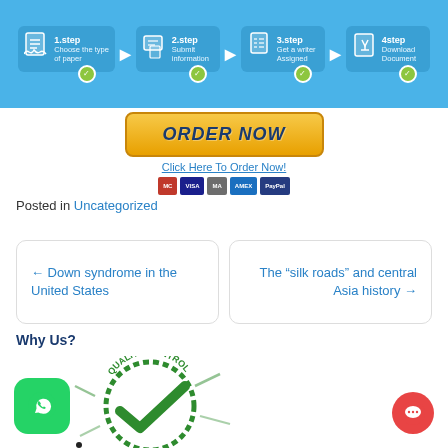[Figure (infographic): 4-step process infographic on blue background: 1.step Choose the type of paper, 2.step Submit information, 3.step Get a writer Assigned, 4step Download Document. Each step has an icon and a green checkmark circle, connected by arrows.]
[Figure (infographic): Orange ORDER NOW button with italic bold text, with 'Click Here To Order Now!' link below and payment icons (Mastercard, Visa, Maestro, American Express, PayPal)]
Posted in Uncategorized
← Down syndrome in the United States
The “silk roads” and central Asia history →
Why Us?
[Figure (illustration): Green Quality Control stamp/seal with checkmark, WhatsApp icon at lower left, chat bubble icon at lower right]